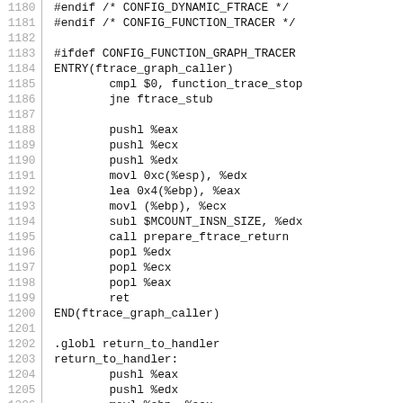Assembly source code listing, lines 1180-1209, showing ftrace graph caller and return_to_handler assembly routines for Linux kernel.